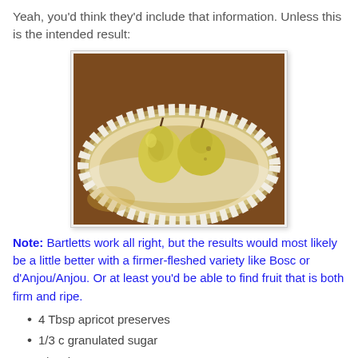Yeah, you'd think they'd include that information. Unless this is the intended result:
[Figure (photo): Two yellow pears sitting in an unbaked pie crust on a wooden table, photographed from above at an angle.]
Note: Bartletts work all right, but the results would most likely be a little better with a firmer-fleshed variety like Bosc or d'Anjou/Anjou. Or at least you'd be able to find fruit that is both firm and ripe.
4 Tbsp apricot preserves
1/3 c granulated sugar
1/3 c brown sugar